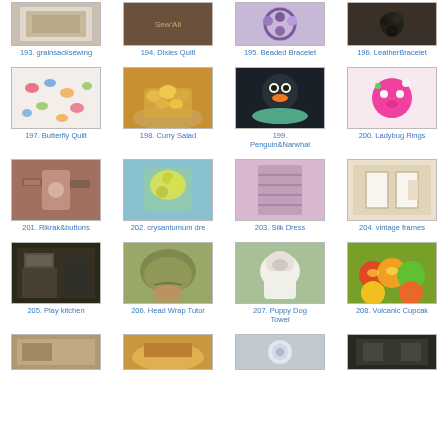[Figure (photo): Grid of craft/DIY project thumbnails with numbered labels. Items 193-208 visible plus partial row at bottom. Items include: 193. grainsacksewing, 194. Dixies Quilt, 195. Beaded Bracelet, 196. LeatherBracelet, 197. Butterfly Quilt, 198. Curry Salad, 199. Penguin&Narwhal, 200. Ladybug Rings, 201. Rikrak&buttons, 202. crysantumum dre, 203. Silk Dress, 204. vintage frames, 205. Play kitchen, 206. Head Wrap Tutor, 207. Puppy Dog Towel, 208. Volcanic Cupcak, plus 4 partial images at bottom.]